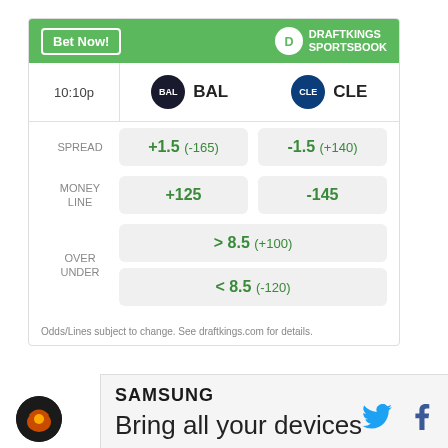|  | BAL | CLE |
| --- | --- | --- |
| 10:10p | BAL | CLE |
| SPREAD | +1.5 (-165) | -1.5 (+140) |
| MONEY LINE | +125 | -145 |
| OVER UNDER | > 8.5 (+100) / < 8.5 (-120) |  |
Odds/Lines subject to change. See draftkings.com for details.
SAMSUNG
Bring all your devices
[Figure (logo): Site logo, circular orange/black icon]
[Figure (logo): Twitter bird icon in blue]
[Figure (logo): Facebook f icon in dark blue]